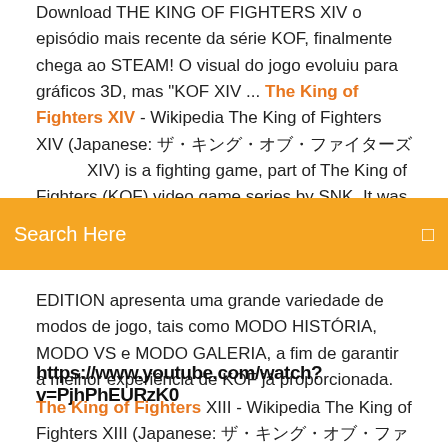Download THE KING OF FIGHTERS XIV o episódio mais recente da série KOF, finalmente chega ao STEAM! O visual do jogo evoluiu para gráficos 3D, mas "KOF XIV ... The King of Fighters XIV - Wikipedia The King of Fighters XIV (Japanese: ザ・キング・オブ・ファイターズ XIV) is a fighting game, part of The King of Fighters (KOF) video game series by SNK. It was developed for the PlayStation
Search Here
EDITION apresenta uma grande variedade de modos de jogo, tais como MODO HISTÓRIA, MODO VS e MODO GALERIA, a fim de garantir a melhor experiência de KOF já proporcionada.
https://www.youtube.com/watch?v=PjhPhEURzK0
The King of Fighters XIII - Wikipedia The King of Fighters XIII (Japanese: ザ・キング・オブ・ファイターズ XIII) is a fighting game in The King of Fighters series, developed and published by SNK Playmore originally in 2010. King of Fighters XIII was released for